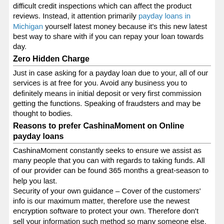difficult credit inspections which can affect the product reviews. Instead, it attention primarily payday loans in Michigan yourself latest money because it's this new latest best way to share with if you can repay your loan towards day.
Zero Hidden Charge
Just in case asking for a payday loan due to your, all of our services is at free for you. Avoid any business you to definitely means in initial deposit or very first commission getting the functions. Speaking of fraudsters and may be thought to bodies.
Reasons to prefer CashinaMoment on Online payday loans
CashinaMoment constantly seeks to ensure we assist as many people that you can with regards to taking funds. All of our provider can be found 365 months a great-season to help you last.
Security of your own guidance – Cover of the customers' info is our maximum matter, therefore use the newest encryption software to protect your own. Therefore don't sell your information such method so many someone else.
Without headaches app techniques – All of our cash advance processes are simple, easy to complete, and very prompt. You can get the mortgage address into the minutes once distribution your own request. As well as your acknowledged mortgage will be in your own financial make up new step one business day.
Faq's – 255 Dollar Payday loan
Public Safeguards Number if you don't Citizen ID. Discover family savings pointers. Their physical address and you can a dynamic phone number (otherwise landline). Email address. Newest income in excess of $step one,000 1 month.